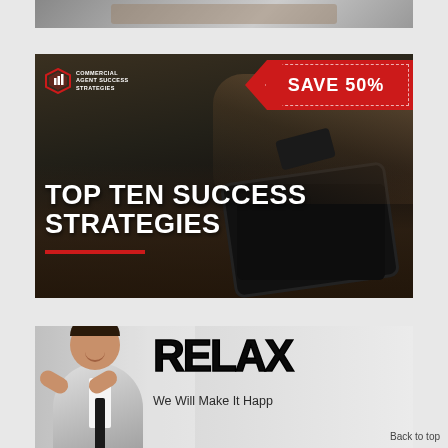[Figure (illustration): Partial top image strip, cropped at top of page]
[Figure (infographic): Commercial Agent Success Strategies advertisement banner with dark background showing tablet and hands, red 'SAVE 50%' ribbon in top right, and large white bold text 'TOP TEN SUCCESS STRATEGIES' with red underline]
[Figure (photo): Second advertisement showing a smiling businessman with text 'RELAX We Will Make It Happen' partially cut off, with 'Back to top' link in bottom right]